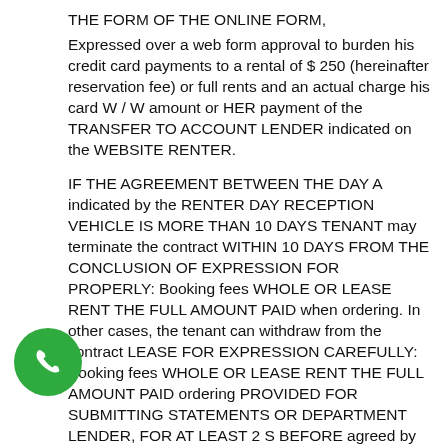THE FORM OF THE ONLINE FORM,
Expressed over a web form approval to burden his credit card payments to a rental of $ 250 (hereinafter reservation fee) or full rents and an actual charge his card W / W amount or HER payment of the TRANSFER TO ACCOUNT LENDER indicated on the WEBSITE RENTER.
IF THE AGREEMENT BETWEEN THE DAY A indicated by the RENTER DAY RECEPTION VEHICLE IS MORE THAN 10 DAYS TENANT may terminate the contract WITHIN 10 DAYS FROM THE CONCLUSION OF EXPRESSION FOR PROPERLY: Booking fees WHOLE OR LEASE RENT THE FULL AMOUNT PAID when ordering. In other cases, the tenant can withdraw from the contract LEASE FOR EXPRESSION CAREFULLY: Booking fees WHOLE OR LEASE RENT THE FULL AMOUNT PAID ordering PROVIDED FOR SUBMITTING STATEMENTS OR DEPARTMENT LENDER, FOR AT LEAST 2 S BEFORE agreed by the parties ordered DATE OF CAR.
[Figure (illustration): Green circular phone call button with white telephone handset icon]